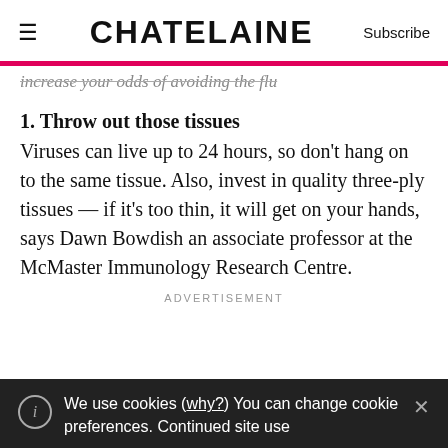CHATELAINE
increase your odds of avoiding the flu
1. Throw out those tissues
Viruses can live up to 24 hours, so don't hang on to the same tissue. Also, invest in quality three-ply tissues — if it's too thin, it will get on your hands, says Dawn Bowdish an associate professor at the McMaster Immunology Research Centre.
ADVERTISEMENT
We use cookies (why?) You can change cookie preferences. Continued site use